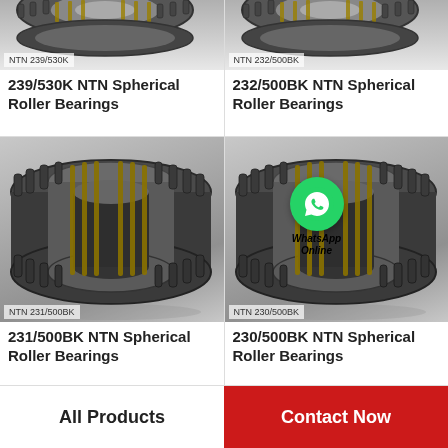[Figure (photo): NTN 239/530K spherical roller bearing product photo (top, cropped)]
NTN 239/530K
239/530K NTN Spherical Roller Bearings
[Figure (photo): NTN 232/500BK spherical roller bearing product photo (top, cropped)]
NTN 232/500BK
232/500BK NTN Spherical Roller Bearings
[Figure (photo): NTN 231/500BK spherical roller bearing product photo]
NTN 231/500BK
231/500BK NTN Spherical Roller Bearings
[Figure (photo): NTN 230/500BK spherical roller bearing product photo with WhatsApp Online overlay]
NTN 230/500BK
230/500BK NTN Spherical Roller Bearings
All Products
Contact Now